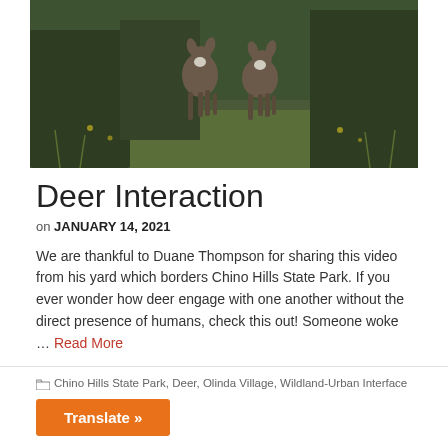[Figure (photo): Two deer walking away through green brushy grassland vegetation, viewed from behind, in a nature/park setting.]
Deer Interaction
on JANUARY 14, 2021
We are thankful to Duane Thompson for sharing this video from his yard which borders Chino Hills State Park. If you ever wonder how deer engage with one another without the direct presence of humans, check this out! Someone woke … Read More
Chino Hills State Park, Deer, Olinda Village, Wildland-Urban Interface
Translate »